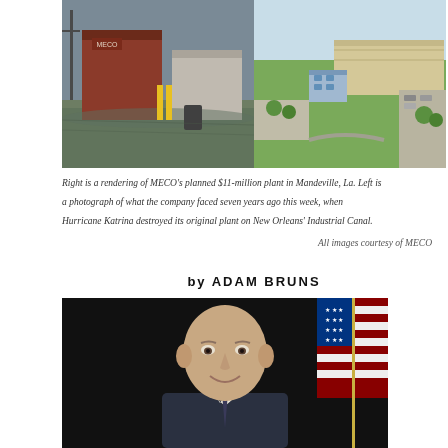[Figure (photo): Left photo: flooded building during Hurricane Katrina on New Orleans Industrial Canal. Right photo: aerial rendering of MECO's planned $11-million plant in Mandeville, Louisiana.]
Right is a rendering of MECO’s planned $11-million plant in Mandeville, La. Left is a photograph of what the company faced seven years ago this week, when Hurricane Katrina destroyed its original plant on New Orleans’ Industrial Canal.
All images courtesy of MECO
by ADAM BRUNS
[Figure (photo): Portrait photograph of a middle-aged bald man in a suit smiling, with an American flag visible in the background.]